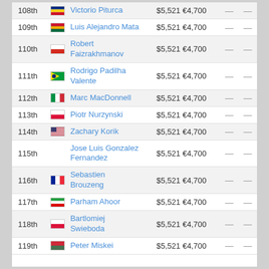| Rank | Flag | Name | Prize |  |  |
| --- | --- | --- | --- | --- | --- |
| 108th | Romania | Victorio Piturca | $5,521 €4,700 | — | — |
| 109th | Venezuela | Luis Alejandro Mata | $5,521 €4,700 | — | — |
| 110th | Russia | Robert Faizrakhmanov | $5,521 €4,700 | — | — |
| 111th | Brazil | Rodrigo Padilha Valente | $5,521 €4,700 | — | — |
| 112th | Italy | Marc MacDonnell | $5,521 €4,700 | — | — |
| 113th | Poland | Piotr Nurzynski | $5,521 €4,700 | — | — |
| 114th | USA | Zachary Korik | $5,521 €4,700 | — | — |
| 115th |  | Jose Luis Gonzalez Fernandez | $5,521 €4,700 | — | — |
| 116th | France | Sebastien Brouzeng | $5,521 €4,700 | — | — |
| 117th | Iran | Parham Ahoor | $5,521 €4,700 | — | — |
| 118th | Poland | Bartlomiej Swieboda | $5,521 €4,700 | — | — |
| 119th | Hungary | Peter Miskei | $5,521 €4,700 | — | — |